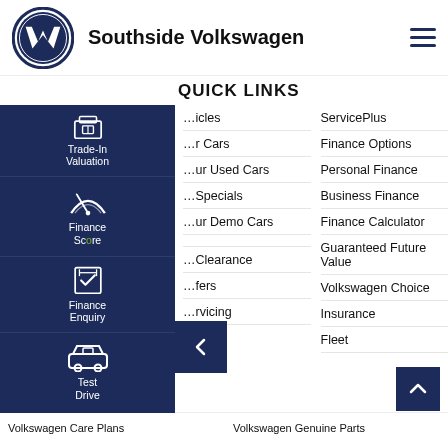[Figure (logo): Volkswagen logo (VW circular emblem) and Southside Volkswagen brand name with hamburger menu icon]
QUICK LINKS
[Figure (infographic): Left sidebar navigation panel with Trade-In Valuation, Finance Score, Finance Enquiry, and Test Drive buttons in dark navy blue]
...icles
ServicePlus
...r Cars
Finance Options
...ur Used Cars
Personal Finance
...Specials
Business Finance
...ur Demo Cars
Finance Calculator
Guaranteed Future Value
...Clearance
Volkswagen Choice
...fers
Insurance
...rvicing
Fleet
Volkswagen Care Plans
Volkswagen Genuine Parts